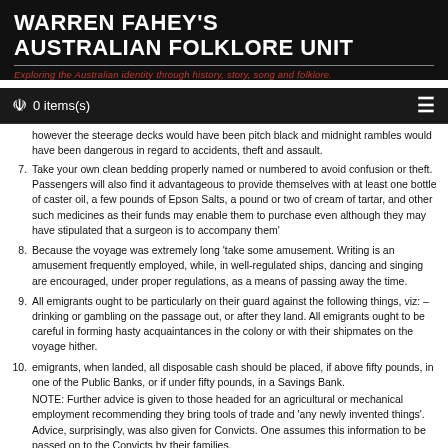WARREN FAHEY'S AUSTRALIAN FOLKLORE UNIT
Exploring the Australian identity through history, story, song and folklore.
0 items(s)
however the steerage decks would have been pitch black and midnight rambles would have been dangerous in regard to accidents, theft and assault.
Take your own clean bedding properly named or numbered to avoid confusion or theft. Passengers will also find it advantageous to provide themselves with at least one bottle of caster oil, a few pounds of Epson Salts, a pound or two of cream of tartar, and other such medicines as their funds may enable them to purchase even although they may have stipulated that a surgeon is to accompany them'
Because the voyage was extremely long 'take some amusement. Writing is an amusement frequently employed, while, in well-regulated ships, dancing and singing are encouraged, under proper regulations, as a means of passing away the time.
All emigrants ought to be particularly on their guard against the following things, viz: – drinking or gambling on the passage out, or after they land. All emigrants ought to be careful in forming hasty acquaintances in the colony or with their shipmates on the voyage hither.
emigrants, when landed, all disposable cash should be placed, if above fifty pounds, in one of the Public Banks, or if under fifty pounds, in a Savings Bank. NOTE: Further advice is given to those headed for an agricultural or mechanical employment recommending they bring tools of trade and 'any newly invented things'. Advice, surprisingly, was also given for Convicts. One assumes this information to be passed on to the Convicts by their families.